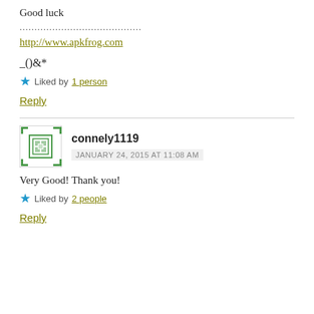Good luck
......................................
http://www.apkfrog.com
_()&*
Liked by 1 person
Reply
connely1119
JANUARY 24, 2015 AT 11:08 AM
Very Good! Thank you!
Liked by 2 people
Reply